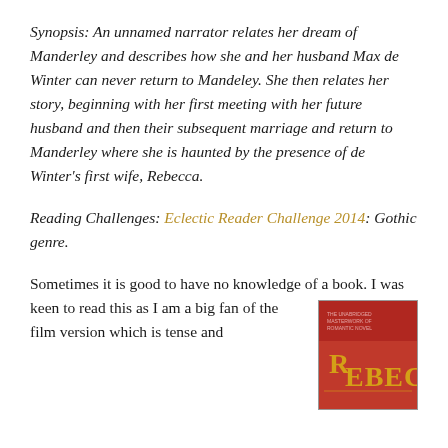Synopsis: An unnamed narrator relates her dream of Manderley and describes how she and her husband Max de Winter can never return to Mandeley. She then relates her story, beginning with her first meeting with her future husband and then their subsequent marriage and return to Manderley where she is haunted by the presence of de Winter's first wife, Rebecca.
Reading Challenges: Eclectic Reader Challenge 2014: Gothic genre.
Sometimes it is good to have no knowledge of a book. I was keen to read this as I am a big fan of the film version which is tense and
[Figure (photo): Book cover of Rebecca — red background with stylized gold/yellow title text 'Rebecca' in large letters]